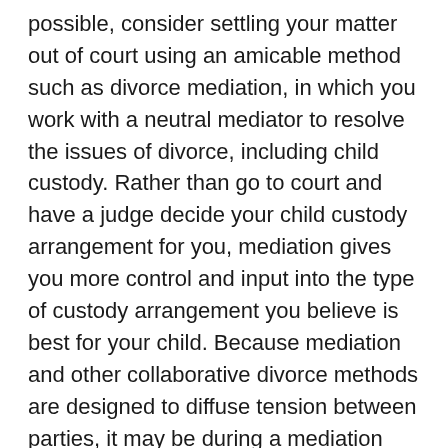possible, consider settling your matter out of court using an amicable method such as divorce mediation, in which you work with a neutral mediator to resolve the issues of divorce, including child custody. Rather than go to court and have a judge decide your child custody arrangement for you, mediation gives you more control and input into the type of custody arrangement you believe is best for your child. Because mediation and other collaborative divorce methods are designed to diffuse tension between parties, it may be during a mediation session that an out-of-the-box parenting time arrangement is first given the opportunity for discussion. A more collaborative divorce can also set the stage for positive co-parenting as the process models how the two of you can collectively work together towards reaching your goals. This is a win-win for moms and dads: less stress during the divorce and less stress parenting in the